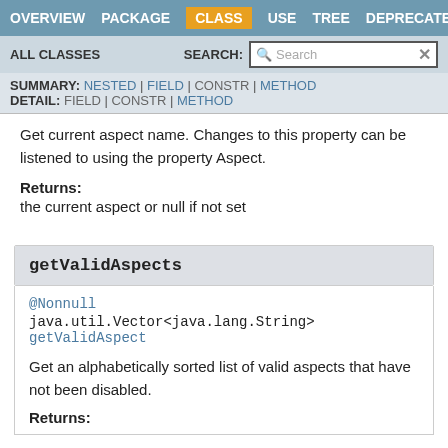OVERVIEW | PACKAGE | CLASS | USE | TREE | DEPRECATED
ALL CLASSES   SEARCH:
SUMMARY: NESTED | FIELD | CONSTR | METHOD
DETAIL: FIELD | CONSTR | METHOD
Get current aspect name. Changes to this property can be listened to using the property Aspect.
Returns:
the current aspect or null if not set
getValidAspects
@Nonnull
java.util.Vector<java.lang.String> getValidAspects
Get an alphabetically sorted list of valid aspects that have not been disabled.
Returns: